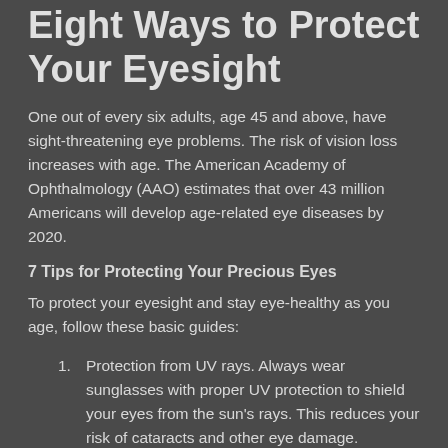Eight Ways to Protect Your Eyesight
One out of every six adults, age 45 and above, have sight-threatening eye problems. The risk of vision loss increases with age. The American Academy of Ophthalmology (AAO) estimates that over 43 million Americans will develop age-related eye diseases by 2020.
7 Tips for Protecting Your Precious Eyes
To protect your eyesight and stay eye-healthy as you age, follow these basic guides:
Protection from UV rays. Always wear sunglasses with proper UV protection to shield your eyes from the sun's rays. This reduces your risk of cataracts and other eye damage.
Eat healthily balanced meals. Many studies prove that antioxidants can reduce cataract risks. Best antioxidants are obtained from a diet rich with fruits, colorful veggies,